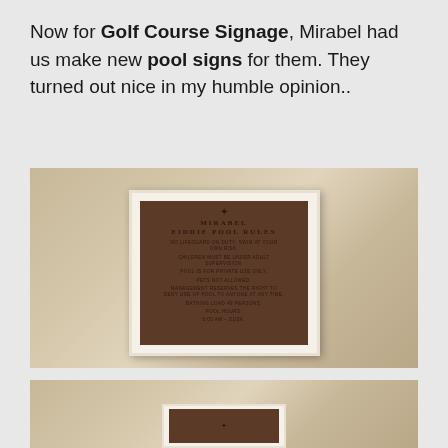Now for Golf Course Signage, Mirabel had us make new pool signs for them. They turned out nice in my humble opinion..
[Figure (photo): Photo of a bronze/brown pool rules sign mounted on a stone wall. The sign reads 'MIRABEL EIDDIE POOL RULES' with various pool rules listed below including: No lifeguard on duty, swim at your own risk. Children must be under adult supervision. Pool is for private use only. Pets not allowed. Management reserves the right to deny use of pool to anyone at any time. Bathing load 49 persons. Pool hours. 6:00 AM - dusk.]
[Figure (photo): Partial photo of a second similar bronze/brown sign mounted on the same stone wall, showing the bottom portion of the image with only the top of the sign visible.]